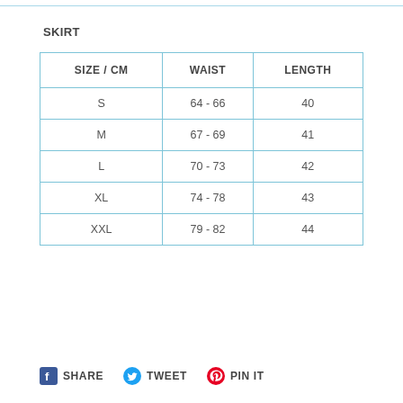SKIRT
| SIZE / CM | WAIST | LENGTH |
| --- | --- | --- |
| S | 64 - 66 | 40 |
| M | 67 - 69 | 41 |
| L | 70 - 73 | 42 |
| XL | 74 - 78 | 43 |
| XXL | 79 - 82 | 44 |
SHARE   TWEET   PIN IT